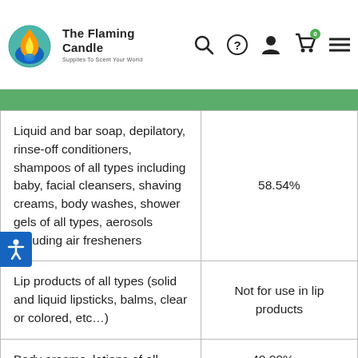The Flaming Candle — Supplies To Scent Your World
|  |  |
| --- | --- |
| Liquid and bar soap, depilatory, rinse-off conditioners, shampoos of all types including baby, facial cleansers, shaving creams, body washes, shower gels of all types, aerosols including air fresheners | 58.54% |
| Lip products of all types (solid and liquid lipsticks, balms, clear or colored, etc…) | Not for use in lip products |
| Body creams, lotions of all… | 49.99%… |